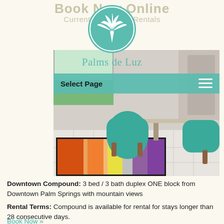Book Now Online
Currently Available Rentals
[Figure (logo): Palms de Luz circular logo with palm tree icon in teal/green color]
Palms de Luz
Select Page
[Figure (photo): Interior room photo showing teal armchairs and a colorful orange/red area rug on white tile floor]
Downtown Compound: 3 bed / 3 bath duplex ONE block from Downtown Palm Springs with mountain views
Rental Terms: Compound is available for rental for stays longer than 28 consecutive days.
Book Now »